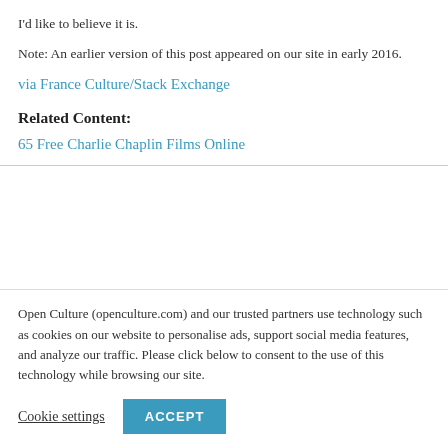I'd like to believe it is.
Note: An earlier version of this post appeared on our site in early 2016.
via France Culture/Stack Exchange
Related Content:
65 Free Charlie Chaplin Films Online
Open Culture (openculture.com) and our trusted partners use technology such as cookies on our website to personalise ads, support social media features, and analyze our traffic. Please click below to consent to the use of this technology while browsing our site.
Cookie settings
ACCEPT